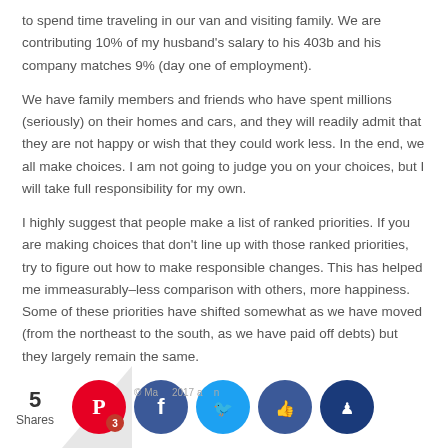to spend time traveling in our van and visiting family. We are contributing 10% of my husband's salary to his 403b and his company matches 9% (day one of employment).
We have family members and friends who have spent millions (seriously) on their homes and cars, and they will readily admit that they are not happy or wish that they could work less. In the end, we all make choices. I am not going to judge you on your choices, but I will take full responsibility for my own.
I highly suggest that people make a list of ranked priorities. If you are making choices that don't line up with those ranked priorities, try to figure out how to make responsible changes. This has helped me immeasurably–less comparison with others, more happiness. Some of these priorities have shifted somewhat as we have moved (from the northeast to the south, as we have paid off debts) but they largely remain the same.
Thanks for your work, Frugalwoods!
Reply
[Figure (infographic): Social share bar with share count (5 Shares), Pinterest button with badge 3, Facebook button, Twitter button, Like button, Crown button. Copyright text visible: © Ma... 2017 a...n]